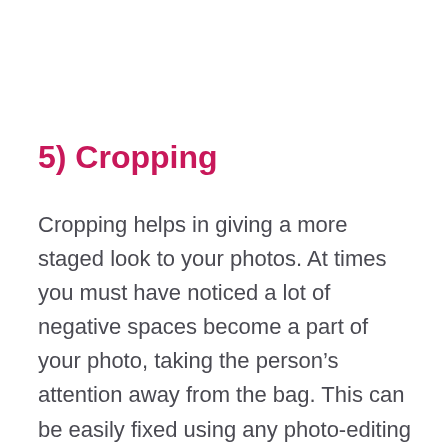5) Cropping
Cropping helps in giving a more staged look to your photos. At times you must have noticed a lot of negative spaces become a part of your photo, taking the person’s attention away from the bag. This can be easily fixed using any photo-editing software.